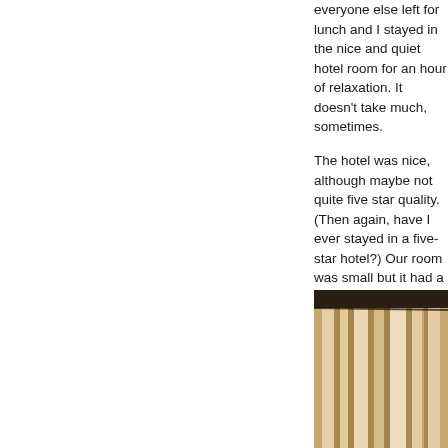everyone else left for lunch and I stayed in the nice and quiet hotel room for an hour of relaxation. It doesn't take much, sometimes.

The hotel was nice, although maybe not quite five star quality. (Then again, have I ever stayed in a five-star hotel?) Our room was small but it had a nice balcony overlooking the front gardens.
[Figure (photo): Interior photo showing curtains or drapes with warm golden/amber tones, dark ceiling visible at top, light filtering through sheer fabric creating vertical light and shadow patterns.]